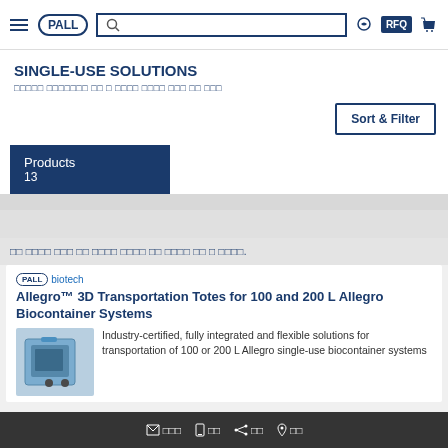PALL navigation bar with logo, search, RFQ, and cart icons
SINGLE-USE SOLUTIONS
□□□□□ □□□□□□□ □□ □ □□□□ □□□□ □□□ □□ □□□
Sort & Filter
Products 13
□□ □□□□ □□□ □□ □□□□ □□□□ □□ □□□□ □□ □ □□□□.
PALL biotech
Allegro™ 3D Transportation Totes for 100 and 200 L Allegro Biocontainer Systems
Industry-certified, fully integrated and flexible solutions for transportation of 100 or 200 L Allegro single-use biocontainer systems
Bottom navigation bar with email, phone, share, and location icons